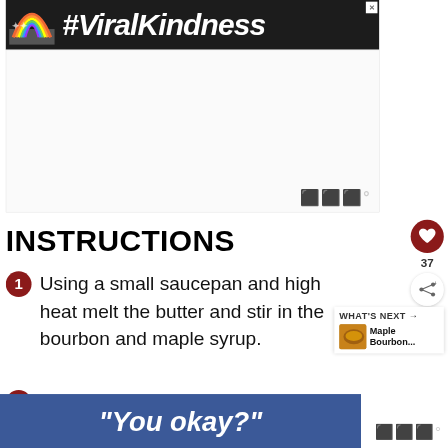[Figure (screenshot): Ad banner with rainbow drawing and #ViralKindness text on dark background]
[Figure (screenshot): White advertisement space with watermark logo]
INSTRUCTIONS
1. Using a small saucepan and high heat melt the butter and stir in the bourbon and maple syrup.
2. Stir the glaze while it comes to
[Figure (screenshot): What's Next panel showing Maple Bourbon... with thumbnail]
[Figure (screenshot): Bottom banner ad with blue background reading "You okay?"]